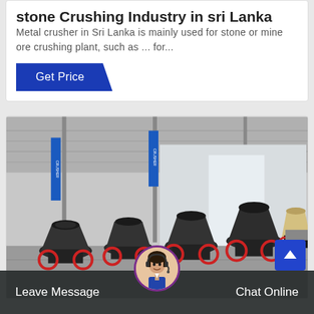stone Crushing Industry in sri Lanka
Metal crusher in Sri Lanka is mainly used for stone or mine ore crushing plant, such as ... for...
Get Price
[Figure (photo): Industrial factory floor with multiple large cone crusher machines arranged in a large metal warehouse/shed. Machines are black with red accents, one cream/yellow colored unit visible at right. Blue company banner signs hang from structure.]
Leave Message
Chat Online